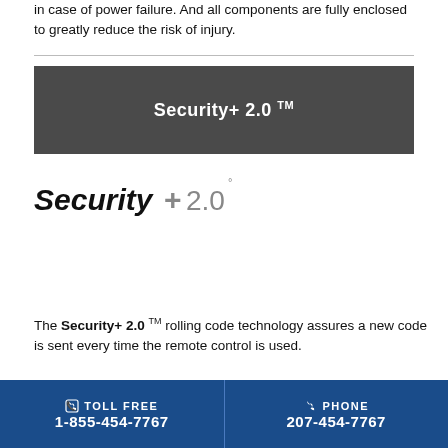in case of power failure. And all components are fully enclosed to greatly reduce the risk of injury.
Security+ 2.0 ™
[Figure (logo): Security+ 2.0 logo with bold black text and grey plus symbol]
The Security+ 2.0 ™ rolling code technology assures a new code is sent every time the remote control is used.
TOLL FREE 1-855-454-7767  PHONE 207-454-7767